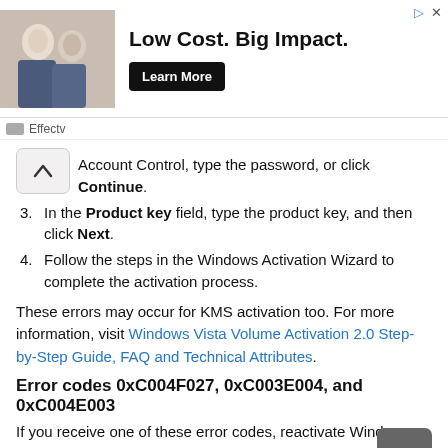[Figure (screenshot): Advertisement banner with photo of two elderly women, text 'Low Cost. Big Impact.' and 'Learn More' button from Effectv]
Account Control, type the password, or click Continue.
In the Product key field, type the product key, and then click Next.
Follow the steps in the Windows Activation Wizard to complete the activation process.
These errors may occur for KMS activation too. For more information, visit Windows Vista Volume Activation 2.0 Step-by-Step Guide, FAQ and Technical Attributes.
Error codes 0xC004F027, 0xC003E004, and 0xC004E003
If you receive one of these error codes, reactivate Windows Vista. To do this, follow these steps:
Open the System item in Control Panel. To do this, click the Start button, go to Computer, and then click